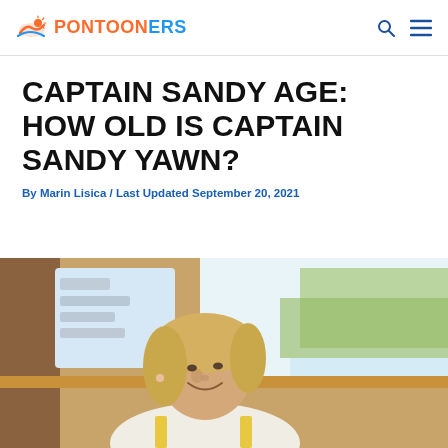PONTOONERS (logo with search and menu icons)
CAPTAIN SANDY AGE: HOW OLD IS CAPTAIN SANDY YAWN?
By Marin Lisica / Last Updated September 20, 2021
[Figure (photo): A blonde woman smiling aboard a boat, viewed from the side, wearing a yellow-trimmed captain's uniform. Wooden interior of the boat visible in the background with water and trees outside.]